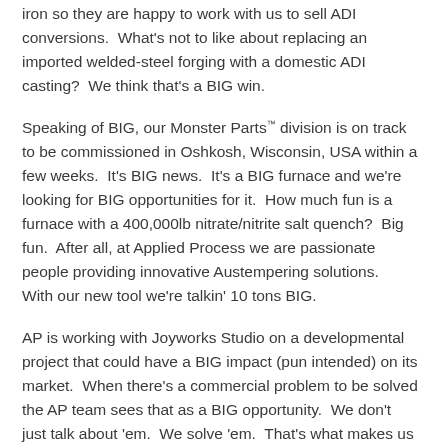iron so they are happy to work with us to sell ADI conversions.  What's not to like about replacing an imported welded-steel forging with a domestic ADI casting?  We think that's a BIG win.
Speaking of BIG, our Monster Parts™ division is on track to be commissioned in Oshkosh, Wisconsin, USA within a few weeks.  It's BIG news.  It's a BIG furnace and we're looking for BIG opportunities for it.  How much fun is a furnace with a 400,000lb nitrate/nitrite salt quench?  Big fun.  After all, at Applied Process we are passionate people providing innovative Austempering solutions.  With our new tool we're talkin' 10 tons BIG.
AP is working with Joyworks Studio on a developmental project that could have a BIG impact (pun intended) on its market.  When there's a commercial problem to be solved the AP team sees that as a BIG opportunity.  We don't just talk about 'em.  We solve 'em.  That's what makes us a BIG player in the world of Austempering. Is that looking for BIG...